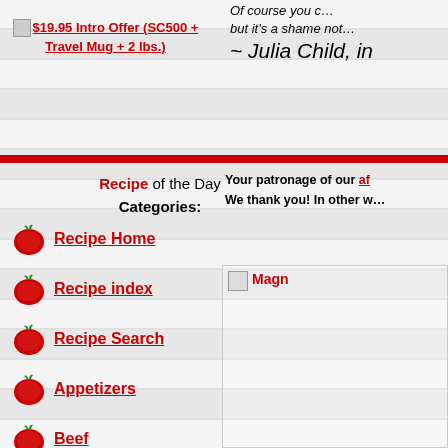$19.95 Intro Offer (SC500 + Travel Mug + 2 lbs.)
Of course you … but it's a shame not … ~ Julia Child, in
Recipe of the Day Categories:
Your patronage of our af… We thank you! In other w…
Recipe Home
Recipe index
Recipe Search
Appetizers
Beef
Beverage
Bread
Breakfast
[Figure (photo): Product image with Magn link]